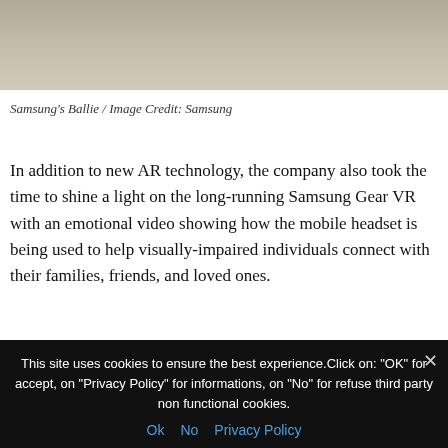[Figure (photo): Partial photo showing what appears to be hands/feet near a floor surface, cropped at top of page — Samsung's Ballie product photo]
Samsung's Ballie / Image Credit: Samsung
In addition to new AR technology, the company also took the time to shine a light on the long-running Samsung Gear VR with an emotional video showing how the mobile headset is being used to help visually-impaired individuals connect with their families, friends, and loved ones.
With both Apple and Facebook currently in development of their own dedicated AR devices, it's clear that companies are beginning to see the value in augmented reality headsets as a potential replacement for
This site uses cookies to ensure the best experience.Click on: "OK" for accept, on "Privacy Policy" for informations, on "No" for refuse third party non functional cookies.
Ok  No  Privacy Policy